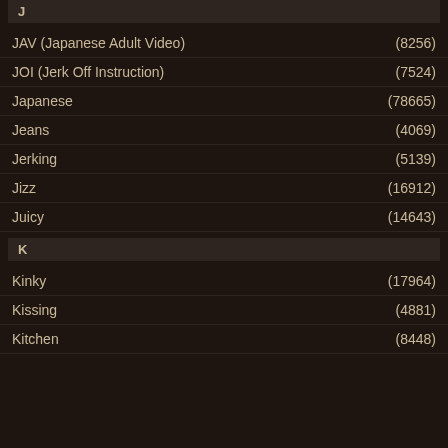J
JAV (Japanese Adult Video) (8256)
JOI (Jerk Off Instruction) (7524)
Japanese (78665)
Jeans (4069)
Jerking (5139)
Jizz (16912)
Juicy (14643)
K
Kinky (17964)
Kissing (4881)
Kitchen (8448)